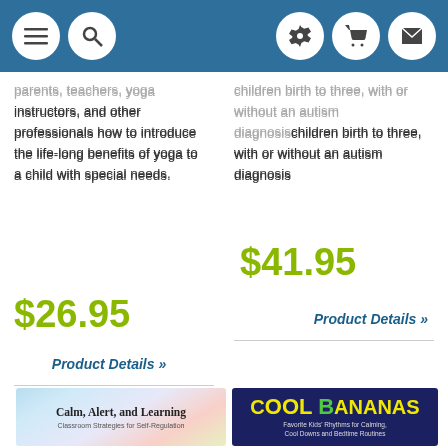Navigation bar with menu, search, settings, cart, and mail icons
parents, teachers, yoga instructors, and other professionals how to introduce the life-long benefits of yoga to a child with special needs.
$26.95
Product Details »
children birth to three, with or without an autism diagnosis
$41.95
Product Details »
[Figure (photo): Book cover: Calm, Alert, and Learning - Classroom Strategies for Self-Regulation, with colorful background]
[Figure (photo): Book cover: Cool Bananas - Favorite Kids' Rhythms for Calming, Cool Downs and Bedtime Routines]